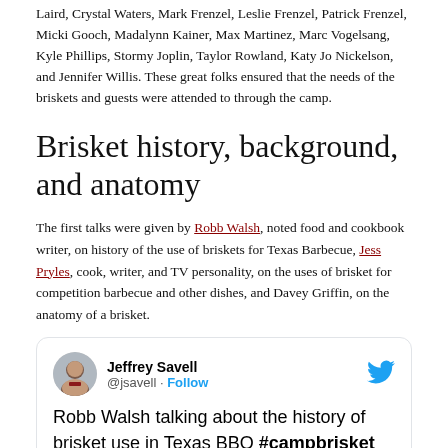Laird, Crystal Waters, Mark Frenzel, Leslie Frenzel, Patrick Frenzel, Micki Gooch, Madalynn Kainer, Max Martinez, Marc Vogelsang, Kyle Phillips, Stormy Joplin, Taylor Rowland, Katy Jo Nickelson, and Jennifer Willis. These great folks ensured that the needs of the briskets and guests were attended to through the camp.
Brisket history, background, and anatomy
The first talks were given by Robb Walsh, noted food and cookbook writer, on history of the use of briskets for Texas Barbecue, Jess Pryles, cook, writer, and TV personality, on the uses of brisket for competition barbecue and other dishes, and Davey Griffin, on the anatomy of a brisket.
[Figure (screenshot): Tweet from Jeffrey Savell (@jsavell) with text: Robb Walsh talking about the history of brisket use in Texas BBQ #campbrisket @robbwalsh #tamubbq @foodwaysTX, with a photo at the bottom partially visible.]